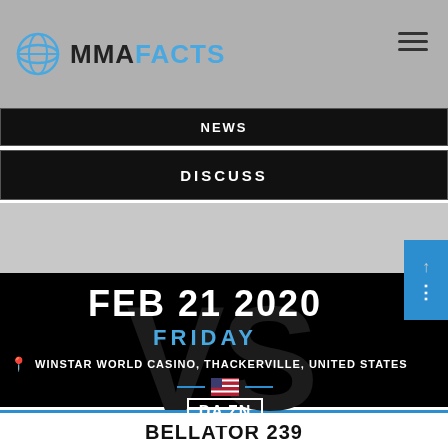MMA FACTS
NEWS
DISCUSS
FEB 21 2020
FRIDAY
WINSTAR WORLD CASINO, THACKERVILLE, UNITED STATES
[Figure (logo): DAZN logo with US flag icon]
BELLATOR 239